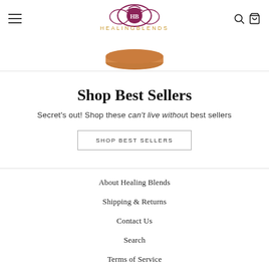≡  HEALINGBLENDS  [search] [cart]
[Figure (photo): Partial view of a product jar/container, brown/copper colored lid visible at top center]
Shop Best Sellers
Secret's out! Shop these can't live without best sellers
SHOP BEST SELLERS
About Healing Blends
Shipping & Returns
Contact Us
Search
Terms of Service